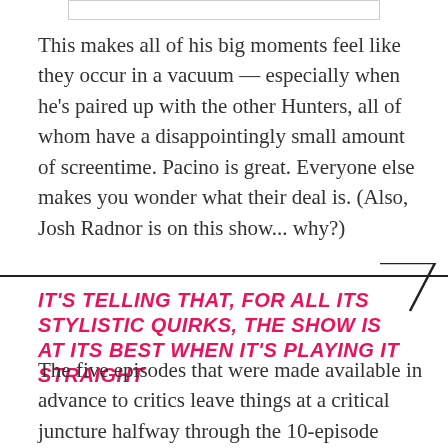[Figure (other): Partial image visible at top of page, cropped white rectangle with border]
This makes all of his big moments feel like they occur in a vacuum — especially when he's paired up with the other Hunters, all of whom have a disappointingly small amount of screentime. Pacino is great. Everyone else makes you wonder what their deal is. (Also, Josh Radnor is on this show... why?)
IT'S TELLING THAT, FOR ALL ITS STYLISTIC QUIRKS, THE SHOW IS AT ITS BEST WHEN IT'S PLAYING IT STRAIGHT
The five episodes that were made available in advance to critics leave things at a critical juncture halfway through the 10-episode season. Some of Hunters' biggest thematic questions revolve around